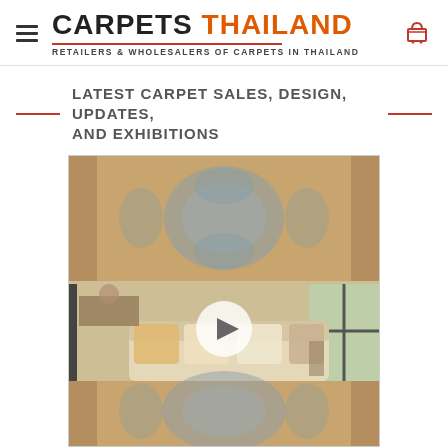CARPETS THAILAND — RETAILERS & WHOLESALERS OF CARPETS IN THAILAND
LATEST CARPET SALES, DESIGN, UPDATES, AND EXHIBITIONS
[Figure (photo): A decorative carpet/rug with an intricate orange and blue/grey medallion pattern, shown both as a flat carpet display on top and as a room setting with a sofa and living room furniture in the middle, with a video play button overlay.]